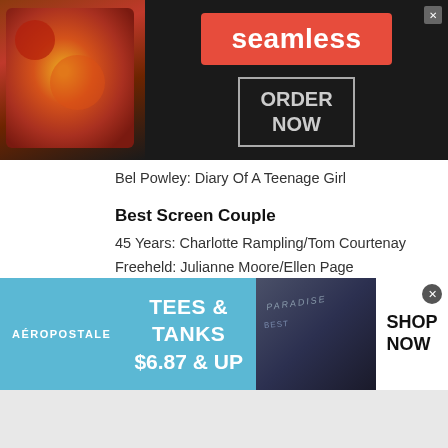[Figure (screenshot): Seamless food delivery advertisement banner with pizza image, red Seamless logo button, and ORDER NOW box]
Bel Powley: Diary Of A Teenage Girl
Best Screen Couple
45 Years: Charlotte Rampling/Tom Courtenay
Freeheld: Julianne Moore/Ellen Page
Iris: Iris Apfel/Albert Maysles
Room: Brie Larson and Jacob Tremblay
Courage in Acting
Julianne Moore: Freeheld
Brie Larson (Room)
[Figure (screenshot): Aeropostale advertisement banner: TEES & TANKS $6.87 & UP, SHOP NOW]